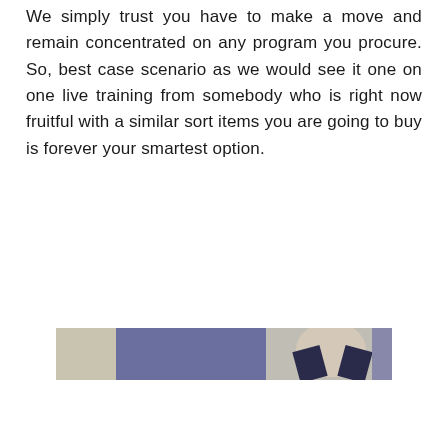We simply trust you have to make a move and remain concentrated on any program you procure. So, best case scenario as we would see it one on one live training from somebody who is right now fruitful with a similar sort items you are going to buy is forever your smartest option.
[Figure (photo): A cropped photo showing a person wearing a dark collar/jacket, partial face visible, against a muted blue-grey background]